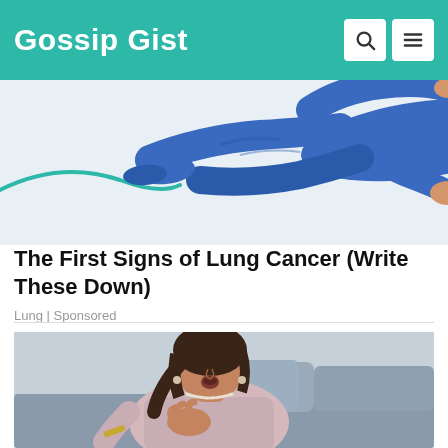Gossip Gist
[Figure (illustration): Illustration of a person in blue outfit lying/running horizontally, partial view cropped at top]
The First Signs of Lung Cancer (Write These Down)
Lung | Sponsored
[Figure (photo): Photo of a middle-aged woman sitting on a sofa with grey cushions, hand on chest, mouth open as if short of breath or in distress, wearing a light pink top and pearl necklace]